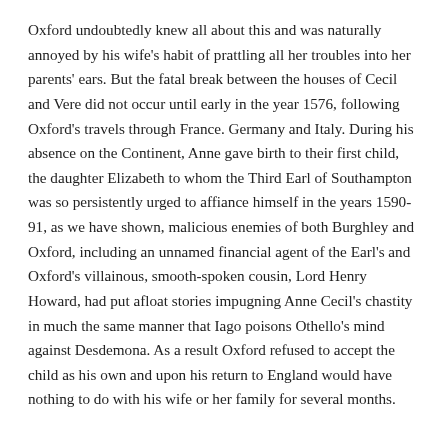Oxford undoubtedly knew all about this and was naturally annoyed by his wife's habit of prattling all her troubles into her parents' ears. But the fatal break between the houses of Cecil and Vere did not occur until early in the year 1576, following Oxford's travels through France. Germany and Italy. During his absence on the Continent, Anne gave birth to their first child, the daughter Elizabeth to whom the Third Earl of Southampton was so persistently urged to affiance himself in the years 1590-91, as we have shown, malicious enemies of both Burghley and Oxford, including an unnamed financial agent of the Earl's and Oxford's villainous, smooth-spoken cousin, Lord Henry Howard, had put afloat stories impugning Anne Cecil's chastity in much the same manner that Iago poisons Othello's mind against Desdemona. As a result Oxford refused to accept the child as his own and upon his return to England would have nothing to do with his wife or her family for several months.